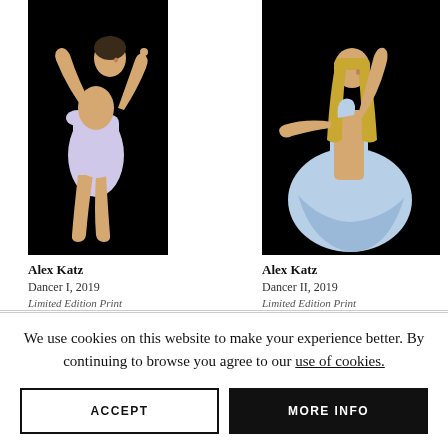[Figure (illustration): Alex Katz artwork - Dancer I, 2019. A woman in a light lavender/lilac leotard posed against a black background, with one arm raised.]
[Figure (illustration): Alex Katz artwork - Dancer II, 2019. A woman in a light blue dress with long blonde hair, arm raised above head, against a black background.]
Alex Katz
Dancer I, 2019
Limited Edition Print
Alex Katz
Dancer II, 2019
Limited Edition Print
We use cookies on this website to make your experience better. By continuing to browse you agree to our use of cookies.